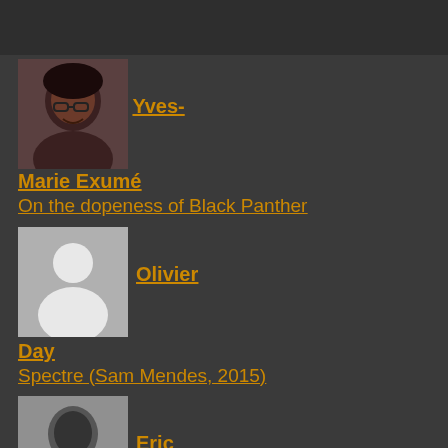[Figure (photo): Photo of Yves-Marie Exumé, a smiling Black woman with glasses and natural hair]
Yves-Marie Exumé
On the dopeness of Black Panther
[Figure (photo): Default avatar/silhouette placeholder image for Olivier Day]
Olivier Day
Spectre (Sam Mendes, 2015)
[Figure (photo): Black and white photo of Eric Lafalaise, a Black man]
Eric Lafalaise
Black Panther: A Perspective
Seven Pounds (Gabriele Muccino, 2008)
Honeymoon (Leig…